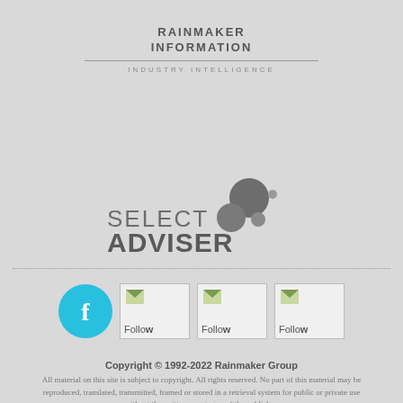[Figure (logo): Rainmaker Information logo with 'INDUSTRY INTELLIGENCE' tagline]
[Figure (logo): Select Adviser logo with molecule-style graphic and bold ADVISER text]
[Figure (infographic): Social media follow buttons: Facebook circle icon and three Follow placeholder image boxes]
Copyright © 1992-2022 Rainmaker Group
All material on this site is subject to copyright. All rights reserved. No part of this material may be reproduced, translated, transmitted, framed or stored in a retrieval system for public or private use without the written permission of the publisher.